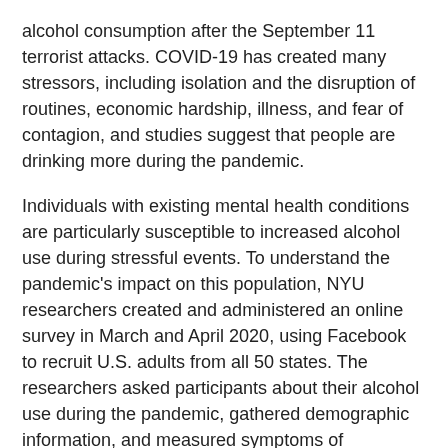alcohol consumption after the September 11 terrorist attacks. COVID-19 has created many stressors, including isolation and the disruption of routines, economic hardship, illness, and fear of contagion, and studies suggest that people are drinking more during the pandemic.
Individuals with existing mental health conditions are particularly susceptible to increased alcohol use during stressful events. To understand the pandemic's impact on this population, NYU researchers created and administered an online survey in March and April 2020, using Facebook to recruit U.S. adults from all 50 states. The researchers asked participants about their alcohol use during the pandemic, gathered demographic information, and measured symptoms of depression and anxiety based on self-report.
Of the 5,850 survey respondents who said that they drink, 29 percent reported increasing their alcohol use during the pandemic, while 19.8 percent reported drinking less and 51.2 percent reported no change. People with depression were 64